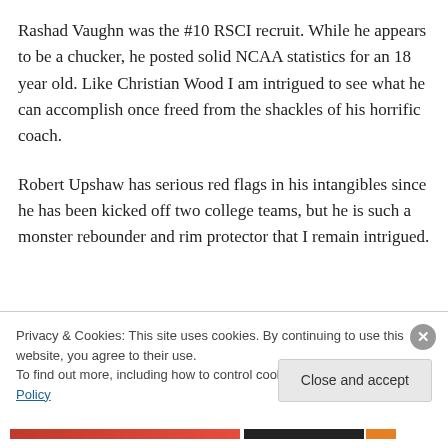Rashad Vaughn was the #10 RSCI recruit. While he appears to be a chucker, he posted solid NCAA statistics for an 18 year old. Like Christian Wood I am intrigued to see what he can accomplish once freed from the shackles of his horrific coach.
Robert Upshaw has serious red flags in his intangibles since he has been kicked off two college teams, but he is such a monster rebounder and rim protector that I remain intrigued.
Privacy & Cookies: This site uses cookies. By continuing to use this website, you agree to their use.
To find out more, including how to control cookies, see here: Cookie Policy